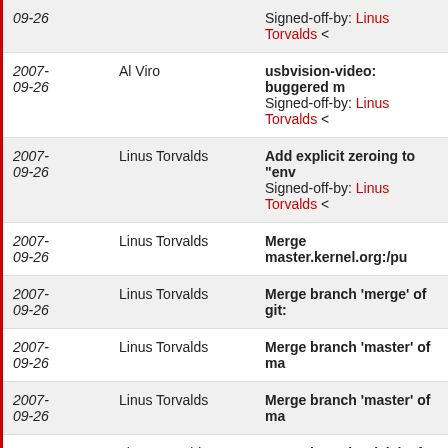| Date | Author | Message |
| --- | --- | --- |
| 2007-09-26 |  | Signed-off-by: Linus Torvalds < |
| 2007-09-26 | Al Viro | usbvision-video: buggered m
Signed-off-by: Linus Torvalds < |
| 2007-09-26 | Linus Torvalds | Add explicit zeroing to "env
Signed-off-by: Linus Torvalds < |
| 2007-09-26 | Linus Torvalds | Merge master.kernel.org:/pu |
| 2007-09-26 | Linus Torvalds | Merge branch 'merge' of git: |
| 2007-09-26 | Linus Torvalds | Merge branch 'master' of ma |
| 2007-09-26 | Linus Torvalds | Merge branch 'master' of ma |
| 2007-09-26 | Linus Torvalds | Merge branch 'trivial' of git:/ |